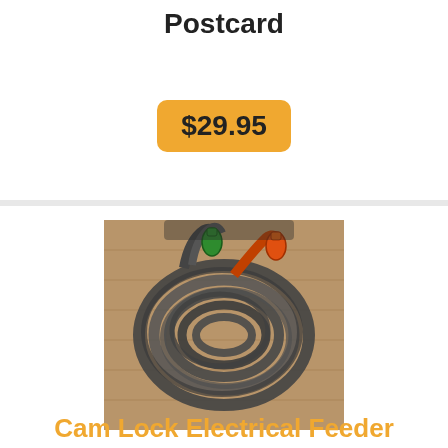Postcard
$29.95
[Figure (photo): A coiled bundle of cam lock electrical feeder cables with green and orange/red connectors visible at the top, lying on a wooden floor surface.]
Cam Lock Electrical Feeder